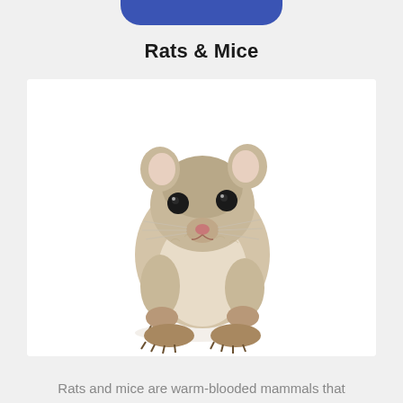Rats & Mice
[Figure (photo): A small gerbil or rat facing forward on a white background, showing its round fluffy body, small ears, black eyes, pink nose, and small clawed feet.]
Rats and mice are warm-blooded mammals that